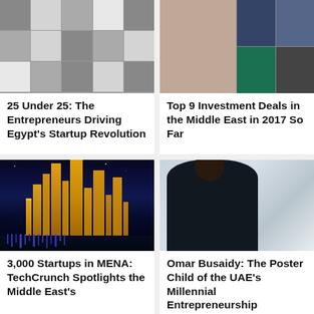[Figure (photo): Collage of young entrepreneurs - 25 Under 25 Egypt]
25 Under 25: The Entrepreneurs Driving Egypt's Startup Revolution
[Figure (photo): Collage of Middle East investors and entrepreneurs for top 9 investment deals story]
Top 9 Investment Deals in the Middle East in 2017 So Far
[Figure (photo): Dubai Marina skyline at night with illuminated skyscrapers and blue light reflections on water]
3,000 Startups in MENA: TechCrunch Spotlights the Middle East's
[Figure (photo): Omar Busaidy standing in a modern office/showroom setting wearing dark polo shirt]
Omar Busaidy: The Poster Child of the UAE's Millennial Entrepreneurship